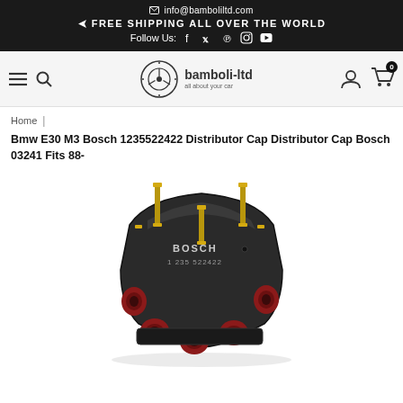✉ info@bamboliltd.com | ➤ FREE SHIPPING ALL OVER THE WORLD | Follow Us: f 𝕩 𝒑 ⊙ ▶
[Figure (logo): bamboli-ltd logo with steering wheel icon and text 'bamboli-ltd, all about your car']
Home |
Bmw E30 M3 Bosch 1235522422 Distributor Cap Distributor Cap Bosch 03241 Fits 88-
[Figure (photo): Bosch distributor cap (part 1235522422) in black plastic with red terminal boots and gold-colored brass studs, viewed from above at an angle. Text 'BOSCH 1 235 522422' visible on cap.]